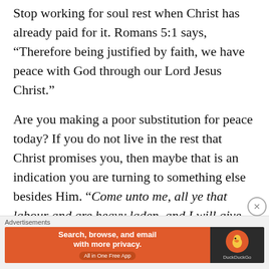Stop working for soul rest when Christ has already paid for it. Romans 5:1 says, “Therefore being justified by faith, we have peace with God through our Lord Jesus Christ.”
Are you making a poor substitution for peace today? If you do not live in the rest that Christ promises you, then maybe that is an indication you are turning to something else besides Him. “Come unto me, all ye that labour and are heavy laden, and I will give you rest.  Take my yoke upon
Advertisements
[Figure (screenshot): DuckDuckGo advertisement banner: orange left panel with text 'Search, browse, and email with more privacy. All in One Free App' and dark right panel with DuckDuckGo duck logo and brand name.]